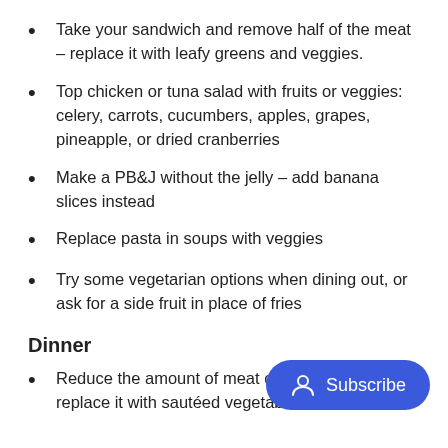Take your sandwich and remove half of the meat – replace it with leafy greens and veggies.
Top chicken or tuna salad with fruits or veggies: celery, carrots, cucumbers, apples, grapes, pineapple, or dried cranberries
Make a PB&J without the jelly – add banana slices instead
Replace pasta in soups with veggies
Try some vegetarian options when dining out, or ask for a side fruit in place of fries
Dinner
Reduce the amount of meat on yo… replace it with sautéed vegetables or a salad